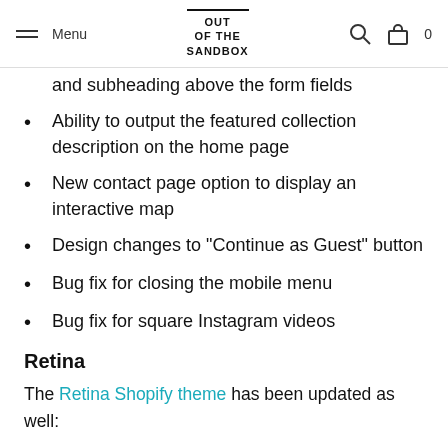Menu | OUT OF THE SANDBOX | 0
and subheading above the form fields
Ability to output the featured collection description on the home page
New contact page option to display an interactive map
Design changes to "Continue as Guest" button
Bug fix for closing the mobile menu
Bug fix for square Instagram videos
Retina
The Retina Shopify theme has been updated as well:
A fix that allows slideshows to work without